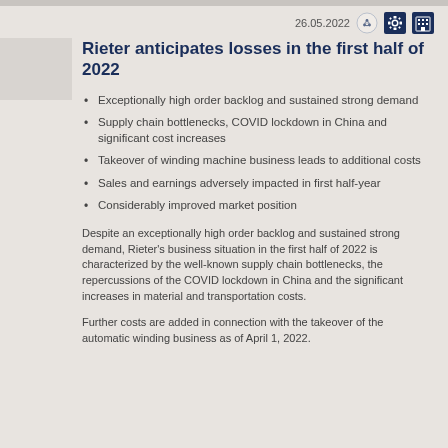26.05.2022
Rieter anticipates losses in the first half of 2022
Exceptionally high order backlog and sustained strong demand
Supply chain bottlenecks, COVID lockdown in China and significant cost increases
Takeover of winding machine business leads to additional costs
Sales and earnings adversely impacted in first half-year
Considerably improved market position
Despite an exceptionally high order backlog and sustained strong demand, Rieter's business situation in the first half of 2022 is characterized by the well-known supply chain bottlenecks, the repercussions of the COVID lockdown in China and the significant increases in material and transportation costs.
Further costs are added in connection with the takeover of the automatic winding business as of April 1, 2022.